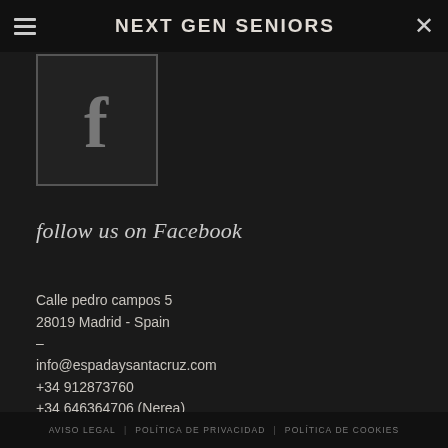NEXT GEN SENIORS
[Figure (logo): Facebook logo icon in a dark square box with border]
follow us on Facebook
Calle pedro campos 5
28019 Madrid - Spain
–
info@espadaysantacruz.com
+34 912873760
+34 646364706 (Nerea)
AVISO LEGAL | POLÍTICA DE PRIVACIDAD | POLÍTICA DE COOKIES